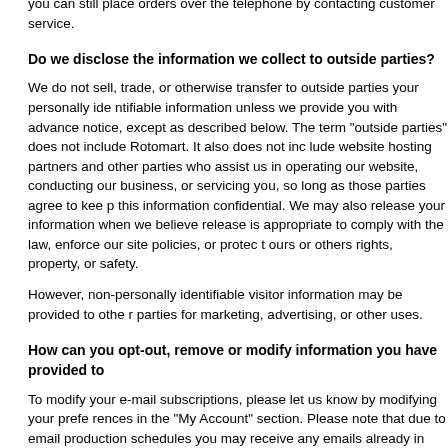you can still place orders over the telephone by contacting customer service.
Do we disclose the information we collect to outside parties?
We do not sell, trade, or otherwise transfer to outside parties your personally identifiable information unless we provide you with advance notice, except as described below. The term "outside parties" does not include Rotomart. It also does not include website hosting partners and other parties who assist us in operating our website, conducting our business, or servicing you, so long as those parties agree to keep this information confidential. We may also release your information when we believe release is appropriate to comply with the law, enforce our site policies, or protect ours or others rights, property, or safety.
However, non-personally identifiable visitor information may be provided to other parties for marketing, advertising, or other uses.
How can you opt-out, remove or modify information you have provided to us?
To modify your e-mail subscriptions, please let us know by modifying your preferences in the "My Account" section. Please note that due to email production schedules you may receive any emails already in production.
To delete all of your online account information from our database, sign into the "My Account" section of our site and remove your shipping addresses, billing addresses & payment information. Please note that we may maintain information about an individual sales transaction in order to service that transaction and for record keeping.
Third party links
In an attempt to provide you with increased value, we may include third party links on our site. These linked sites have separate and independent privacy policies. We therefore have no responsibility or liability for the content and activities of these linked sites. Nonetheless, we seek to protect the integrity of our site and welcome any feedback about these linked sites (including if a specific link does not work).
Changes to our policy
If we decide to change our privacy policy, we will post those changes on this page, and/or update the policy modification date below. August 6, 2009